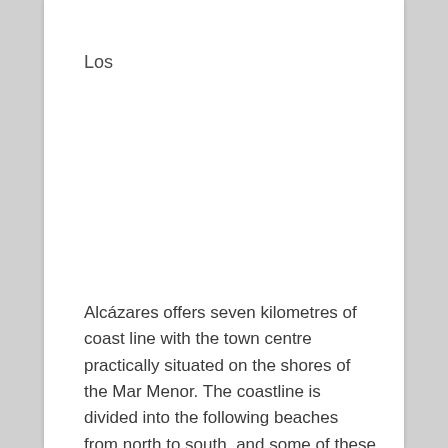Los
Alcázares offers seven kilometres of coast line with the town centre practically situated on the shores of the Mar Menor. The coastline is divided into the following beaches from north to south, and some of these with the blue flag awarded by E.U: Las Salinas beach Los